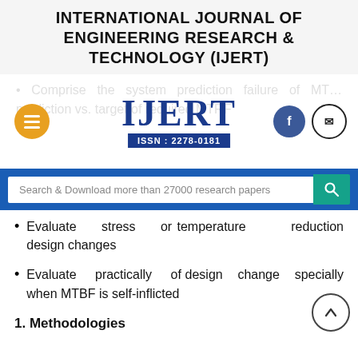INTERNATIONAL JOURNAL OF ENGINEERING RESEARCH & TECHNOLOGY (IJERT)
[Figure (logo): IJERT logo with ISSN: 2278-0181, burger menu button, Facebook and email social icons, and faded background text]
Search & Download more than 27000 research papers
Evaluate stress or temperature reduction design changes
Evaluate practically of design change specially when MTBF is self-inflicted
1. Methodologies